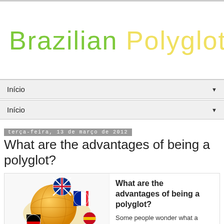[Figure (logo): Brazilian Polyglot logo in handwritten style, 'Brazilian' in green and 'Polyglot' in yellow]
Início ▼
Início ▼
terça-feira, 13 de março de 2012
What are the advantages of being a polyglot?
[Figure (illustration): Globe with country flag balls (UK, France, Germany, Spain flags) floating around it]
What are the advantages of being a polyglot?
Some people wonder what a